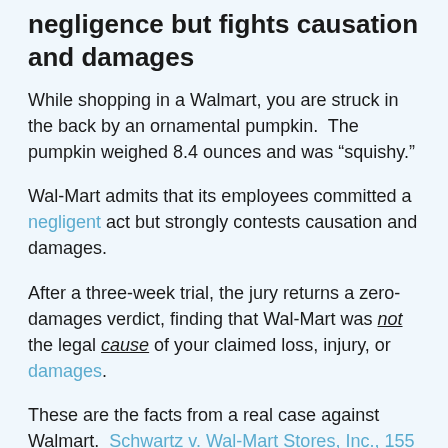negligence but fights causation and damages
While shopping in a Walmart, you are struck in the back by an ornamental pumpkin.  The pumpkin weighed 8.4 ounces and was “squishy.”
Wal-Mart admits that its employees committed a negligent act but strongly contests causation and damages.
After a three-week trial, the jury returns a zero-damages verdict, finding that Wal-Mart was not the legal cause of your claimed loss, injury, or damages.
These are the facts from a real case against Walmart.  Schwartz v. Wal-Mart Stores, Inc., 155 So. 3d 471 – Fla: Dist. Court of Appeals, 5th Dist.